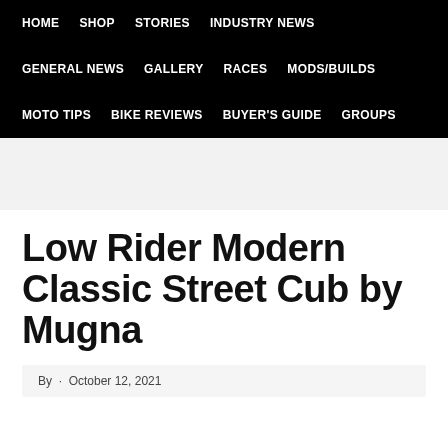HOME  SHOP  STORIES  INDUSTRY NEWS  GENERAL NEWS  GALLERY  RACES  MODS/BUILDS  MOTO TIPS  BIKE REVIEWS  BUYER'S GUIDE  GROUPS
[Figure (other): Advertisement banner area, light gray background]
Low Rider Modern Classic Street Cub by Mugna
By ... · October 12, 2021